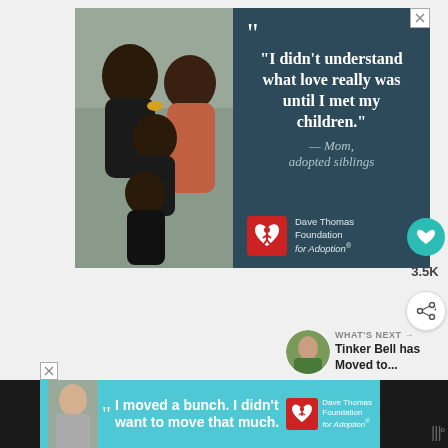[Figure (photo): Advertisement for Dave Thomas Foundation for Adoption. Left side shows a photo of a smiling family (man, woman, and two children). Right side has dark teal background with quote: 'I didn't understand what love really was until I met my children.' attributed to '— Mom, adopted siblings', with Dave Thomas Foundation for Adoption logo.]
3.5K
WHAT'S NEXT → Tinker Bell has Moved to...
[Figure (photo): Bottom banner advertisement for Dave Thomas Foundation for Adoption with quote: 'I moved a bunch. I didn't want to move that much.' on teal background with logo.]